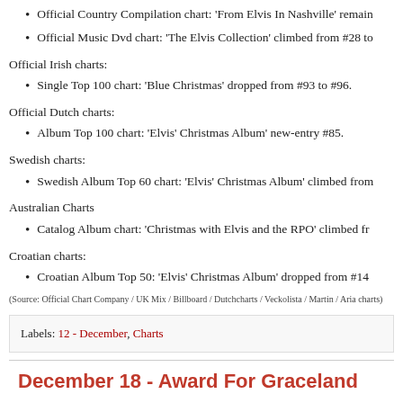Official Country Compilation chart: 'From Elvis In Nashville' remain
Official Music Dvd chart: 'The Elvis Collection' climbed from #28 to
Official Irish charts:
Single Top 100 chart: 'Blue Christmas' dropped from #93 to #96.
Official Dutch charts:
Album Top 100 chart: 'Elvis' Christmas Album' new-entry #85.
Swedish charts:
Swedish Album Top 60 chart: 'Elvis' Christmas Album' climbed from
Australian Charts
Catalog Album chart: 'Christmas with Elvis and the RPO' climbed fr
Croatian charts:
Croatian Album Top 50: 'Elvis' Christmas Album' dropped from #14
(Source: Official Chart Company / UK Mix / Billboard / Dutchcharts / Veckolista / Martin / Aria charts)
Labels: 12 - December, Charts
December 18 - Award For Graceland